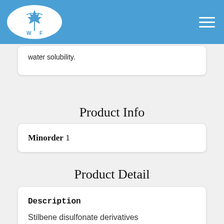[Figure (logo): White oval logo with blue maple leaf and bird/lightning bolt icon, letters W and F below, on blue header bar]
water solubility.
Product Info
Minorder 1
Product Detail
Description
Stilbene disulfonate derivatives